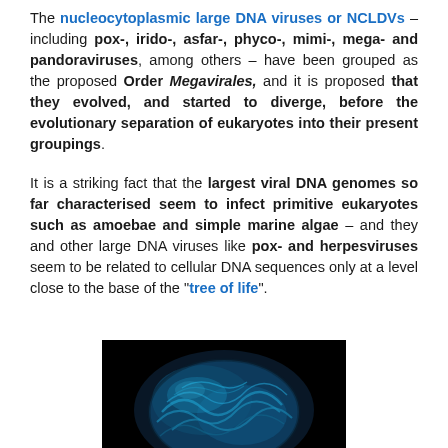The nucleocytoplasmic large DNA viruses or NCLDVs – including pox-, irido-, asfar-, phyco-, mimi-, mega- and pandoraviruses, among others – have been grouped as the proposed Order Megavirales, and it is proposed that they evolved, and started to diverge, before the evolutionary separation of eukaryotes into their present groupings.
It is a striking fact that the largest viral DNA genomes so far characterised seem to infect primitive eukaryotes such as amoebae and simple marine algae – and they and other large DNA viruses like pox- and herpesviruses seem to be related to cellular DNA sequences only at a level close to the base of the "tree of life".
[Figure (photo): Microscopic/artistic image of a large DNA virus shown in blue/teal colors against a black background, resembling a textured spherical structure.]